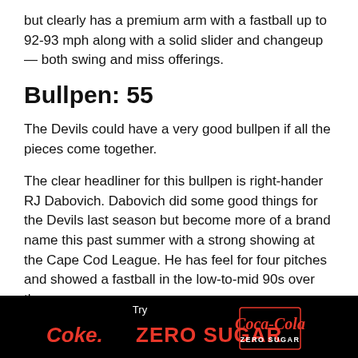but clearly has a premium arm with a fastball up to 92-93 mph along with a solid slider and changeup — both swing and miss offerings.
Bullpen: 55
The Devils could have a very good bullpen if all the pieces come together.
The clear headliner for this bullpen is right-hander RJ Dabovich. Dabovich did some good things for the Devils last season but become more of a brand name this past summer with a strong showing at the Cape Cod League. He has feel for four pitches and showed a fastball in the low-to-mid 90s over the summer.
ALL-DECADE TEAM: Which current Arizona State star made the
[Figure (advertisement): Coca-Cola Zero Sugar advertisement banner with black background, red Coke Zero Sugar text and Coca-Cola logo]